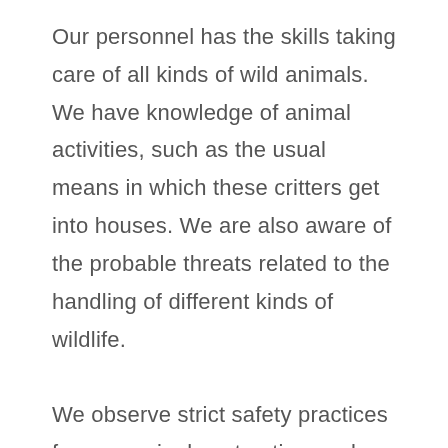Our personnel has the skills taking care of all kinds of wild animals. We have knowledge of animal activities, such as the usual means in which these critters get into houses. We are also aware of the probable threats related to the handling of different kinds of wildlife.

We observe strict safety practices for every single extraction work, regardless of the sort of wild creature we are dealing with. Our highest emphasis is everyone's safety: our customers along with that of our staff. We likewise practice protecting the lives of critters whenever possible. Do not leave